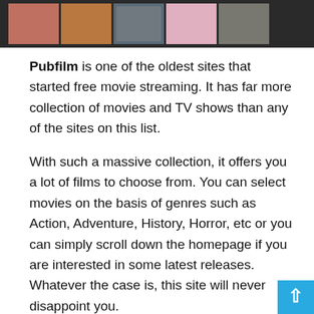[Figure (screenshot): Screenshot of a movie streaming website (Pubfilm) showing a grid of thumbnail images of people/movies in a dark header strip]
Pubfilm is one of the oldest sites that started free movie streaming. It has far more collection of movies and TV shows than any of the sites on this list.
With such a massive collection, it offers you a lot of films to choose from. You can select movies on the basis of genres such as Action, Adventure, History, Horror, etc or you can simply scroll down the homepage if you are interested in some latest releases. Whatever the case is, this site will never disappoint you.
Also, no worries as registration or sign up is not required. Just select a movie and start streaming